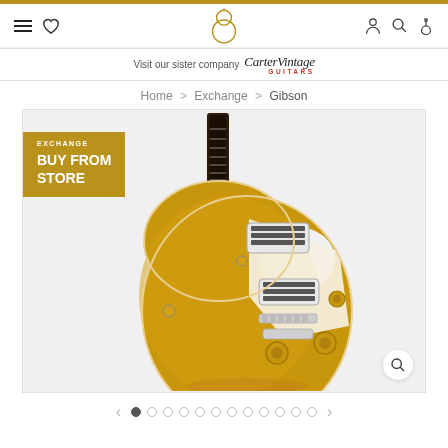Navigation header with hamburger menu, heart icon, logo, person icon, search icon, guitar icon
Visit our sister company Carter Vintage Guitars
Home > Exchange > Gibson
[Figure (photo): Gold-top Gibson Les Paul electric guitar displayed on a white/light gray background, with 'Exchange Buy From Store' badge in the upper left corner and a zoom magnifier icon in the lower right]
Carousel navigation with previous arrow, 12 dots (first dot active), and next arrow